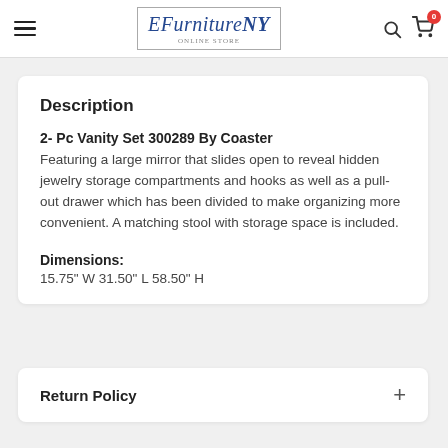EFurnitureNY — hamburger menu, search, cart (0)
Description
2- Pc Vanity Set 300289 By Coaster
Featuring a large mirror that slides open to reveal hidden jewelry storage compartments and hooks as well as a pull-out drawer which has been divided to make organizing more convenient. A matching stool with storage space is included.
Dimensions:
15.75" W 31.50" L 58.50" H
Return Policy